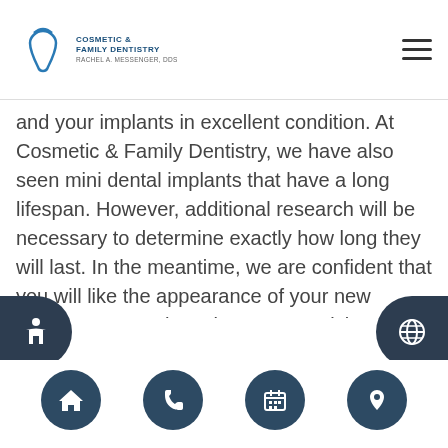Cosmetic & Family Dentistry - Rachel A. Messenger, DDS
and your implants in excellent condition. At Cosmetic & Family Dentistry, we have also seen mini dental implants that have a long lifespan. However, additional research will be necessary to determine exactly how long they will last. In the meantime, we are confident that you will like the appearance of your new replacement tooth. To learn more, visit our dental office.
Are dental implants and mini dental implants used for different reasons?